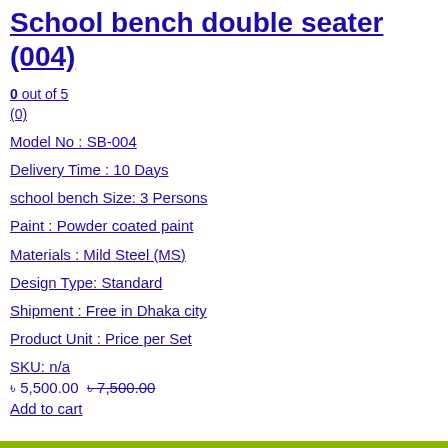School bench double seater (004)
0 out of 5
(0)
Model No : SB-004
Delivery Time : 10 Days
school bench Size: 3 Persons
Paint : Powder coated paint
Materials : Mild Steel (MS)
Design Type: Standard
Shipment : Free in Dhaka city
Product Unit : Price per Set
SKU: n/a
৳ 5,500.00  ৳ 7,500.00
Add to cart